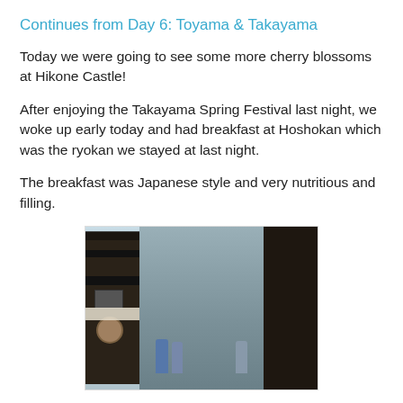Continues from Day 6: Toyama & Takayama
Today we were going to see some more cherry blossoms at Hikone Castle!
After enjoying the Takayama Spring Festival last night, we woke up early today and had breakfast at Hoshokan which was the ryokan we stayed at last night.
The breakfast was Japanese style and very nutritious and filling.
[Figure (photo): Street view of a traditional Japanese town (likely Takayama) with dark wooden buildings lining both sides of a narrow street, pedestrians visible in the distance, a vertical pipe/pole in the center, trees and overhanging eaves visible.]